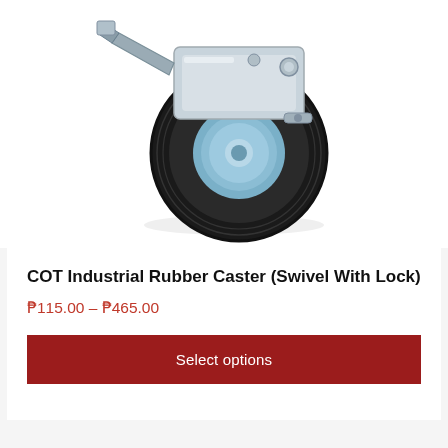[Figure (photo): Photo of a COT Industrial Rubber Caster (Swivel With Lock) — a black rubber wheel with a shiny steel swivel bracket and a locking brake lever on top, viewed from the side against a white background.]
COT Industrial Rubber Caster (Swivel With Lock)
₱115.00 – ₱465.00
Select options